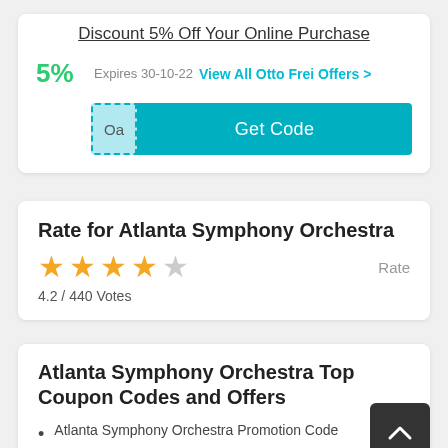Discount 5% Off Your Online Purchase
5%  Expires 30-10-22  View All Otto Frei Offers >
Oa  Get Code
Rate for Atlanta Symphony Orchestra
4.2 / 440 Votes
Atlanta Symphony Orchestra Top Coupon Codes and Offers
Atlanta Symphony Orchestra Promotion Code